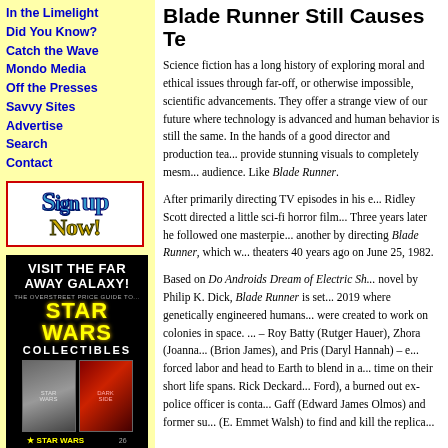In the Limelight
Did You Know?
Catch the Wave
Mondo Media
Off the Presses
Savvy Sites
Advertise
Search
Contact
[Figure (illustration): Sign Up Now! button with blue stylized text 'SIGN UP' and gold 'NOW!' inside a red border box]
[Figure (illustration): Star Wars Collectibles price guide advertisement with black background, yellow Star Wars logo, two comic book covers shown]
Blade Runner Still Causes Te
Science fiction has a long history of exploring moral and ethical issues through far-off, or otherwise impossible, scientific advancements. They offer a strange view of our future where technology is advanced and human behavior is still the same. In the hands of a good director and production team, they provide stunning visuals to completely mesmerize an audience. Like Blade Runner.
After primarily directing TV episodes in his early career, Ridley Scott directed a little sci-fi horror film called Alien. Three years later he followed one masterpiece with another by directing Blade Runner, which was released in theaters 40 years ago on June 25, 1982.
Based on Do Androids Dream of Electric Sh... novel by Philip K. Dick, Blade Runner is set in Los Angeles 2019 where genetically engineered humans called replicants were created to work on colonies in space. Four replicants – Roy Batty (Rutger Hauer), Zhora (Joanna Cassidy), Leon (Brion James), and Pris (Daryl Hannah) – escape their forced labor and head to Earth to blend in and spend more time on their short life spans. Rick Deckard (Harrison Ford), a burned out ex-police officer is contacted by Ray Gaff (Edward James Olmos) and former superior Bryant (E. Emmet Walsh) to find and kill the replica...